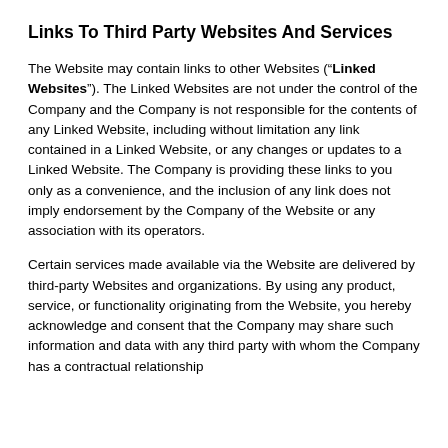Links To Third Party Websites And Services
The Website may contain links to other Websites (“Linked Websites”). The Linked Websites are not under the control of the Company and the Company is not responsible for the contents of any Linked Website, including without limitation any link contained in a Linked Website, or any changes or updates to a Linked Website. The Company is providing these links to you only as a convenience, and the inclusion of any link does not imply endorsement by the Company of the Website or any association with its operators.
Certain services made available via the Website are delivered by third-party Websites and organizations. By using any product, service, or functionality originating from the Website, you hereby acknowledge and consent that the Company may share such information and data with any third party with whom the Company has a contractual relationship to provide the requested service or functionality on behalf of the